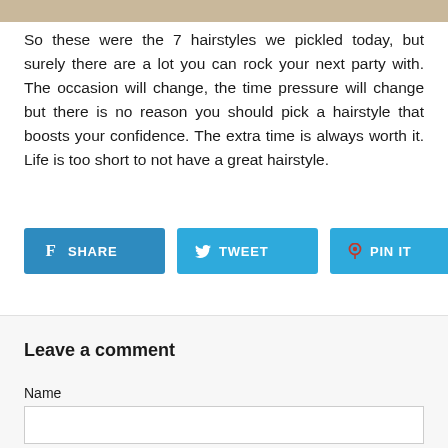[Figure (photo): Top portion of a photo of a person with a hairstyle, cropped at the top edge of the page]
So these were the 7 hairstyles we pickled today, but surely there are a lot you can rock your next party with. The occasion will change, the time pressure will change but there is no reason you should pick a hairstyle that boosts your confidence. The extra time is always worth it. Life is too short to not have a great hairstyle.
[Figure (other): Social sharing buttons: SHARE (Facebook, blue), TWEET (Twitter, blue), PIN IT (Pinterest, blue with red pin icon)]
Leave a comment
Name